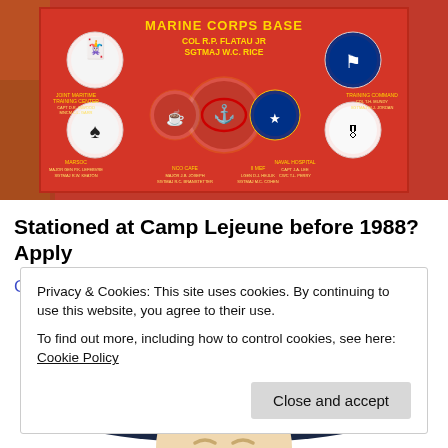[Figure (photo): Marine Corps Base sign on a red background with various military unit emblems and insignia. Text reads 'MARINE CORPS BASE COL R.P. FLATAU JR SGTMAJ W.C. RICE' among other unit names.]
Stationed at Camp Lejeune before 1988? Apply
Camp Lejeune Lawsuit Settlement
[Figure (illustration): Illustration of an elderly man with white hair wearing a dark navy cowboy hat, looking upward. Only the upper portion of the figure is visible.]
Privacy & Cookies: This site uses cookies. By continuing to use this website, you agree to their use.
To find out more, including how to control cookies, see here: Cookie Policy
Close and accept